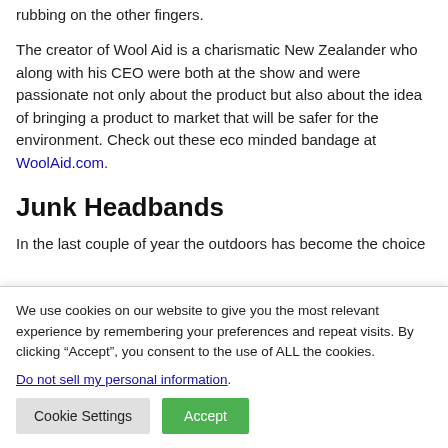rubbing on the other fingers.
The creator of Wool Aid is a charismatic New Zealander who along with his CEO were both at the show and were passionate not only about the product but also about the idea of bringing a product to market that will be safer for the environment. Check out these eco minded bandage at WoolAid.com.
Junk Headbands
In the last couple of year the outdoors has become the choice
We use cookies on our website to give you the most relevant experience by remembering your preferences and repeat visits. By clicking “Accept”, you consent to the use of ALL the cookies.
Do not sell my personal information.